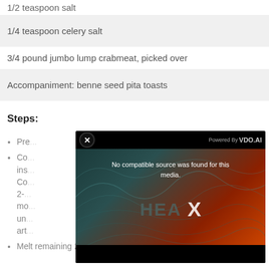1/2 teaspoon salt
1/4 teaspoon celery salt
3/4 pound jumbo lump crabmeat, picked over
Accompaniment: benne seed pita toasts
Steps:
Pre...
Co... ins... Co... 2-... mo... un... art...
Melt remaining 2 tablespoons butter in
[Figure (screenshot): Video player overlay showing 'No compatible source was found for this media.' with HEA X branding and close button, Powered By VDO.AI label]